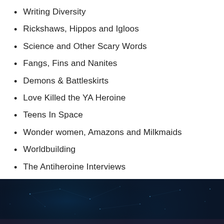Writing Diversity
Rickshaws, Hippos and Igloos
Science and Other Scary Words
Fangs, Fins and Nanites
Demons & Battleskirts
Love Killed the YA Heroine
Teens In Space
Wonder women, Amazons and Milkmaids
Worldbuilding
The Antiheroine Interviews
[Figure (illustration): Dark navy blue footer background with faint network/constellation dots and lines, suggesting a sci-fi or digital theme]